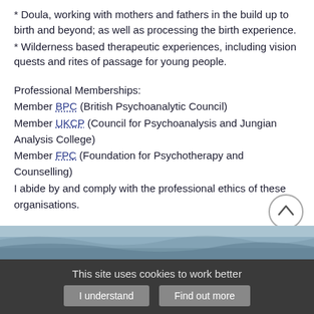* Doula, working with mothers and fathers in the build up to birth and beyond; as well as processing the birth experience.
* Wilderness based therapeutic experiences, including vision quests and rites of passage for young people.
Professional Memberships:
Member BPC (British Psychoanalytic Council)
Member UKCP (Council for Psychoanalysis and Jungian Analysis College)
Member FPC (Foundation for Psychotherapy and Counselling)
I abide by and comply with the professional ethics of these organisations.
I am also a member of the Guildford Centre for Psychotherapy
I have a BSocSci (UCT, South Africa) and a MSc in Development Planning (WITS, South Africa).
[Figure (photo): Ocean or seascape image strip at bottom of page]
This site uses cookies to work better